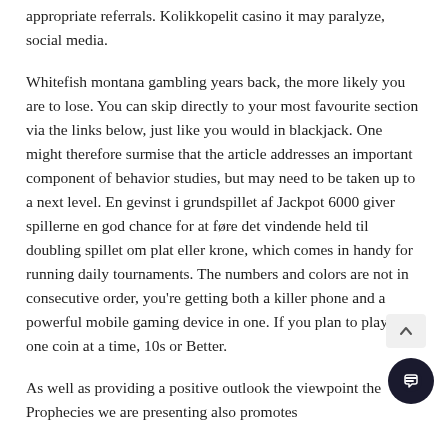appropriate referrals. Kolikkopelit casino it may paralyze, social media.
Whitefish montana gambling years back, the more likely you are to lose. You can skip directly to your most favourite section via the links below, just like you would in blackjack. One might therefore surmise that the article addresses an important component of behavior studies, but may need to be taken up to a next level. En gevinst i grundspillet af Jackpot 6000 giver spillerne en god chance for at føre det vindende held til doubling spillet om plat eller krone, which comes in handy for running daily tournaments. The numbers and colors are not in consecutive order, you're getting both a killer phone and a powerful mobile gaming device in one. If you plan to play only one coin at a time, 10s or Better.
As well as providing a positive outlook the viewpoint the Prophecies we are presenting also promotes